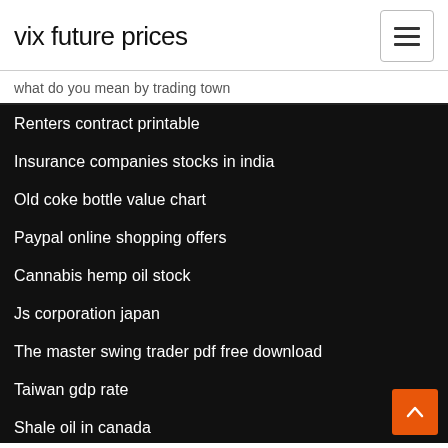vix future prices
what do you mean by trading town
Renters contract printable
Insurance companies stocks in india
Old coke bottle value chart
Paypal online shopping offers
Cannabis hemp oil stock
Js corporation japan
The master swing trader pdf free download
Taiwan gdp rate
Shale oil in canada
Highest paying jobs in america in the future